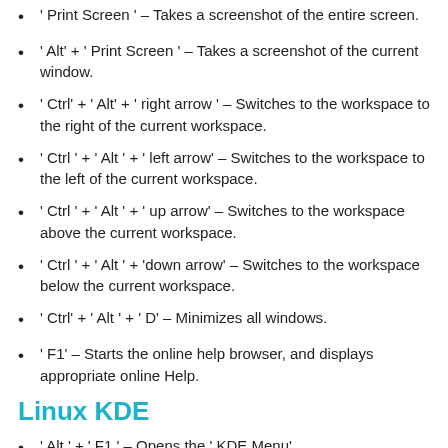' Print Screen ' – Takes a screenshot of the entire screen.
' Alt' + ' Print Screen ' – Takes a screenshot of the current window.
' Ctrl' + ' Alt' + ' right arrow ' – Switches to the workspace to the right of the current workspace.
' Ctrl ' + ' Alt ' + ' left arrow' – Switches to the workspace to the left of the current workspace.
' Ctrl ' + ' Alt ' + ' up arrow' – Switches to the workspace above the current workspace.
' Ctrl ' + ' Alt ' + 'down arrow' – Switches to the workspace below the current workspace.
' Ctrl' + ' Alt ' + ' D' – Minimizes all windows.
' F1' – Starts the online help browser, and displays appropriate online Help.
Linux KDE
' Alt ' + ' F1 ' – Opens the ' KDE Menu'.
' Alt ' + ' F2 ' – ...